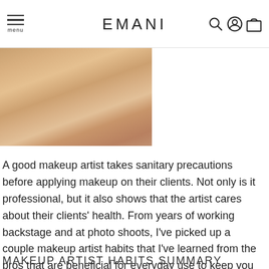menu EMANI
[Figure (photo): Close-up photo of a person's neck and decolletage area showing bare skin in warm/beige tones]
A good makeup artist takes sanitary precautions before applying makeup on their clients. Not only is it professional, but it also shows that the artist cares about their clients' health. From years of working backstage and at photo shoots, I've picked up a couple makeup artist habits that I've learned from the pros that are beneficial for everyday use to keep you healthy.
MAKEUP ARTIST HABITS SUMMARY